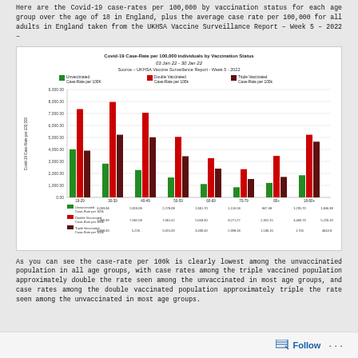Here are the Covid-19 case-rates per 100,000 by vaccination status for each age group over the age of 18 in England, plus the average case rate per 100,000 for all adults in England taken from the UKHSA Vaccine Surveillance Report – Week 5 – 2022 –
[Figure (grouped-bar-chart): Covid-19 Case-Rate per 100,000 individuals by Vaccination Status 03 Jan 22 - 30 Jan 22]
As you can see the case-rate per 100k is clearly lowest among the unvaccinatied population in all age groups, with case rates among the triple vaccined population approximately double the rate seen among the unvaccinated in most age groups, and case rates among the double vaccinated population approximately triple the rate seen among the unvaccinated in most age groups.
Follow ...